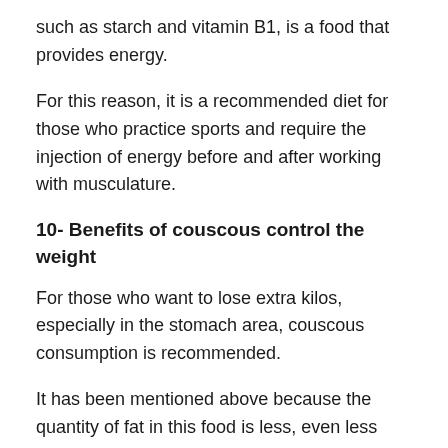such as starch and vitamin B1, is a food that provides energy.
For this reason, it is a recommended diet for those who practice sports and require the injection of energy before and after working with musculature.
10- Benefits of couscous control the weight
For those who want to lose extra kilos, especially in the stomach area, couscous consumption is recommended.
It has been mentioned above because the quantity of fat in this food is less, even less than rice or pasta.
In this sense, replacing noodles or noodles with couscous is a good remedy to reduce size and, in this way, get